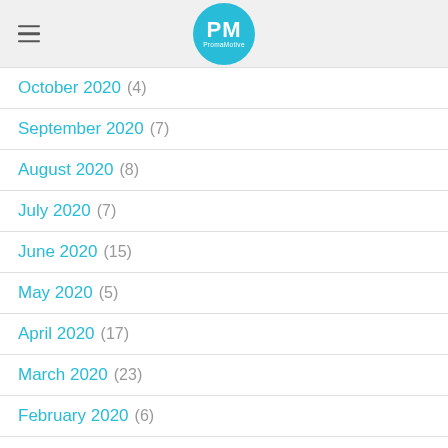PM PromaMotive
October 2020 (4)
September 2020 (7)
August 2020 (8)
July 2020 (7)
June 2020 (15)
May 2020 (5)
April 2020 (17)
March 2020 (23)
February 2020 (6)
January 2020 (2)